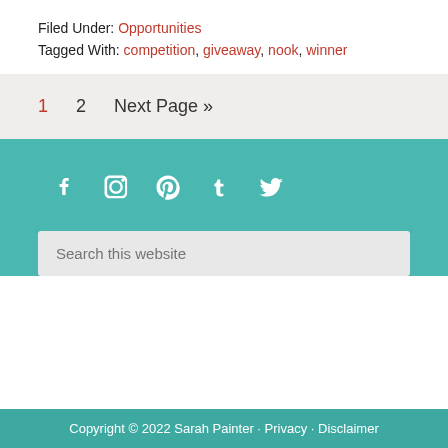Filed Under: Opportunities
Tagged With: competition, giveaway, nook, winner
1  2  Next Page »
[Figure (other): Social media icons: Facebook, Instagram, Pinterest, Tumblr, Twitter on teal background]
Search this website
Copyright © 2022 Sarah Painter · Privacy · Disclaimer